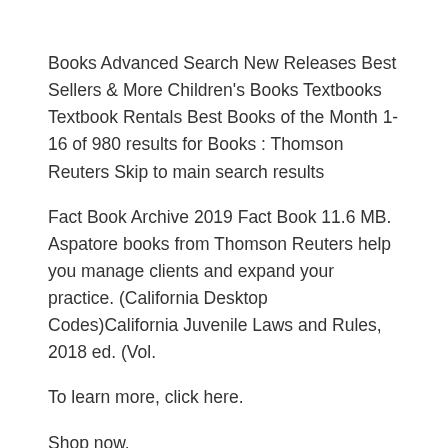Books Advanced Search New Releases Best Sellers & More Children's Books Textbooks Textbook Rentals Best Books of the Month 1-16 of 980 results for Books : Thomson Reuters Skip to main search results
Fact Book Archive 2019 Fact Book 11.6 MB. Aspatore books from Thomson Reuters help you manage clients and expand your practice. (California Desktop Codes)California Juvenile Laws and Rules, 2018 ed. (Vol.
To learn more, click here.
Shop now.
Thomson Reuters, the world’s leading provider of intelligent information for businesses and professionals, b the work of Reuters...